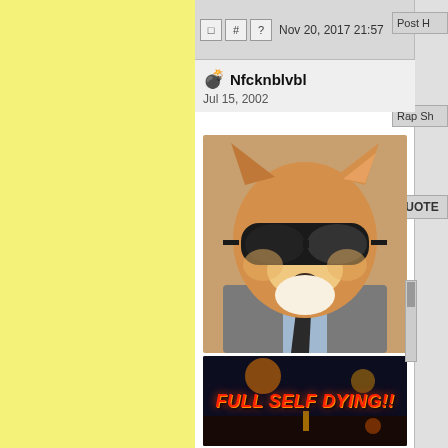[Figure (screenshot): Yellow sidebar background]
Nov 20, 2017 21:57
Post H
Rap Sh
QUOTE
Nfcknblvbl
Jul 15, 2002
[Figure (photo): Shiba Inu dog wearing sunglasses and a suit jacket with a tie]
[Figure (illustration): Banner image with text 'FULL SELF DYING!!' in red graffiti-style lettering on a dark background with lights]